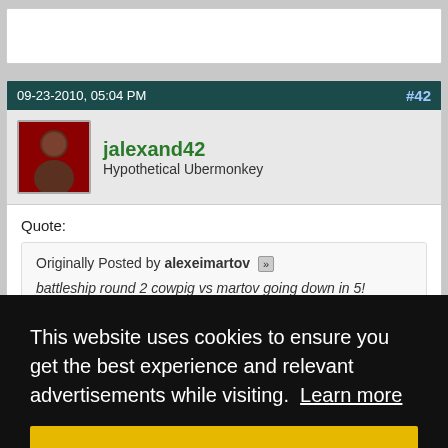(top box, partially visible)
09-23-2010, 05:04 PM  #42
jalexand42
Hypothetical Ubermonkey
Quote:
Originally Posted by alexeimartov
battleship round 2 cowpig vs martov going down in 5!
cowpig just gettin some supplies
This website uses cookies to ensure you get the best experience and relevant advertisements while visiting. Learn more
Got it!
#43
which site for us noobs who dont follow HSNL?